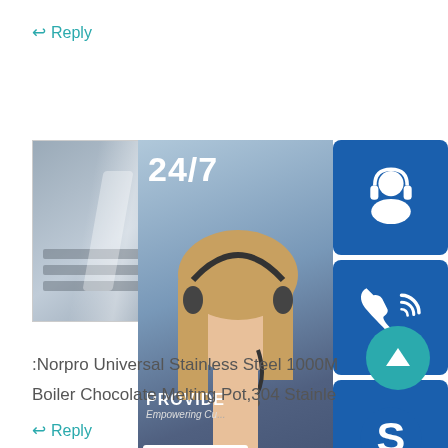↩ Reply
[Figure (photo): Product photo of stainless steel sheet/pot on pallets]
[Figure (infographic): 24/7 customer service panel with woman wearing headset, icons for headset, phone, and Skype, with 'PROVIDE / Empowering Cu...' text, 'online live' button]
:Norpro Universal Stainless Steel 1000M
Boiler Chocolate Melting Pot,304 Stainle
↩ Reply
Reply comment
(comment input box)